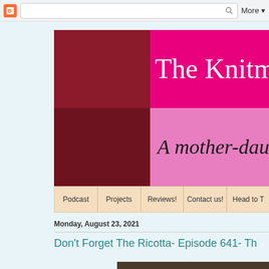Blogger toolbar with search and More button
The Knitmore Girls Pod...
A mother-daugh...
Podcast
Projects
Reviews!
Contact us!
Head to T...
Monday, August 23, 2021
Don't Forget The Ricotta- Episode 641- Th...
[Figure (photo): Partial photo visible at bottom of page, appears to show circular shapes]